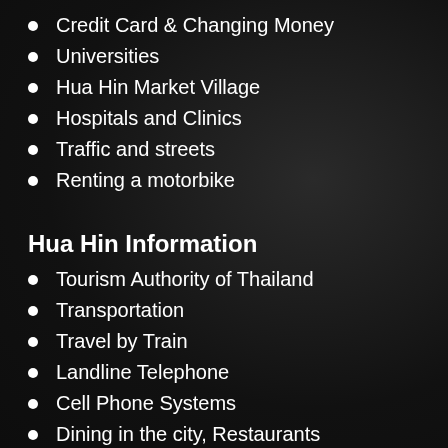Credit Card & Changing Money
Universities
Hua Hin Market Village
Hospitals and Clinics
Traffic and streets
Renting a motorbike
Hua Hin Information
Tourism Authority of Thailand
Transportation
Travel by Train
Landline Telephone
Cell Phone Systems
Dining in the city, Restaurants
Hua Hin Weather & Climate